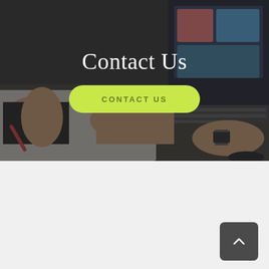[Figure (photo): Dark-overlaid photo of people working at a table with laptops and documents, used as a hero background image]
Contact Us
CONTACT US
[Figure (other): Dark gray rounded square back-to-top button with upward chevron arrow]